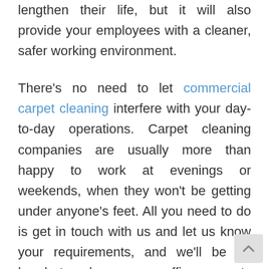lengthen their life, but it will also provide your employees with a cleaner, safer working environment.

There's no need to let commercial carpet cleaning interfere with your day-to-day operations. Carpet cleaning companies are usually more than happy to work at evenings or weekends, when they won't be getting under anyone's feet. All you need to do is get in touch with us and let us know your requirements, and we'll be on hand to clean your office carpets whenever you need us. What's more, we use organic